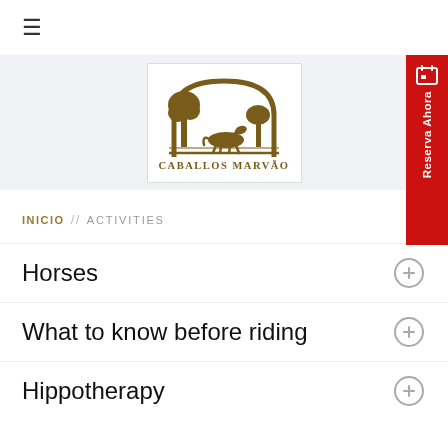[Figure (logo): Hamburger menu icon (three horizontal lines)]
[Figure (logo): Caballos Marvão logo with golden arch, tree, and horse silhouette, text CABALLOS MARVÃO below]
[Figure (other): Red vertical sidebar button with booking icon and text Reserva Ahora]
INICIO // ACTIVITIES
Horses
What to know before riding
Hippotherapy